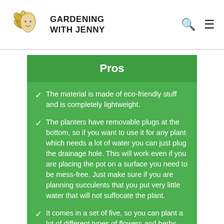GARDENING WITH JENNY
Pros
The material is made of eco-friendly stuff and is completely lightweight.
The planters have removable plugs at the bottom, so if you want to use it for any plant which needs a lot of water you can just plug the drainage hole. This will work even if you are placing the pot on a surface you need to be mess-free. Just make sure if you are planning succulents that you put very little water that will not suffocate the plant.
It comes in a set of five, so you can plant a lot of different types of flowers and herbs and succulents. Give it your twist.succulents